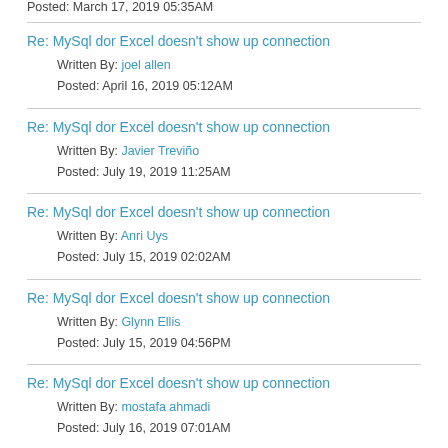Posted: March 17, 2019 05:35AM
Re: MySql dor Excel doesn't show up connection
Written By: joel allen
Posted: April 16, 2019 05:12AM
Re: MySql dor Excel doesn't show up connection
Written By: Javier Treviño
Posted: July 19, 2019 11:25AM
Re: MySql dor Excel doesn't show up connection
Written By: Anri Uys
Posted: July 15, 2019 02:02AM
Re: MySql dor Excel doesn't show up connection
Written By: Glynn Ellis
Posted: July 15, 2019 04:56PM
Re: MySql dor Excel doesn't show up connection
Written By: mostafa ahmadi
Posted: July 16, 2019 07:01AM
Re: MySql dor Excel doesn't show up connection